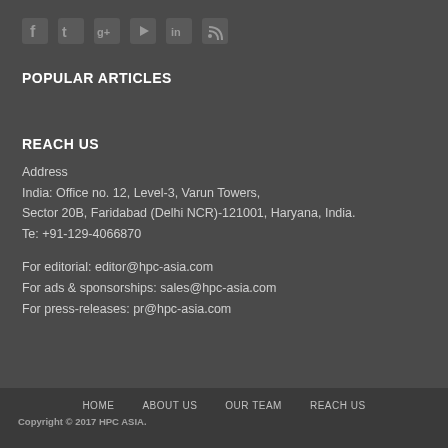[Figure (other): Row of social media icons: Facebook, Twitter, Google+, YouTube, LinkedIn, RSS]
POPULAR ARTICLES
REACH US
Address
India: Office no. 12, Level-3, Varun Towers,
Sector 20B, Faridabad (Delhi NCR)-121001, Haryana, India.
Te: +91-129-4066870
For editorial: editor@hpc-asia.com
For ads & sponsorships: sales@hpc-asia.com
For press-releases: pr@hpc-asia.com
HOME    ABOUT US    OUR TEAM    REACH US
Copyright © 2017 HPC ASIA.